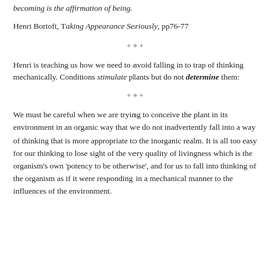becoming is the affirmation of being.
Henri Bortoft, Taking Appearance Seriously, pp76-77
+++
Henri is teaching us how we need to avoid falling in to trap of thinking mechanically. Conditions stimulate plants but do not determine them:
+++
We must be careful when we are trying to conceive the plant in its environment in an organic way that we do not inadvertently fall into a way of thinking that is more appropriate to the inorganic realm. It is all too easy for our thinking to lose sight of the very quality of livingness which is the organism's own 'potency to be otherwise', and for us to fall into thinking of the organism as if it were responding in a mechanical manner to the influences of the environment.